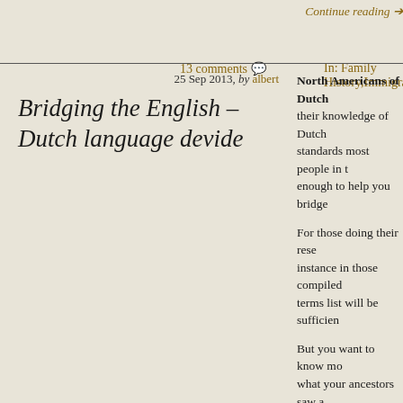Continue reading →
13 comments 💬  In: Family History, Immigration
25 Sep 2013, by albert
Bridging the English – Dutch language devide
North Americans of Dutch... their knowledge of Dutch standards most people in t... enough to help you bridge
For those doing their rese... instance in those compiled terms list will be sufficien...
But you want to know mo... what your ancestors saw a... where they worked, walke... take a trip to the Netherlar... those you have do not shar...
No problem really.
Your best friends are your